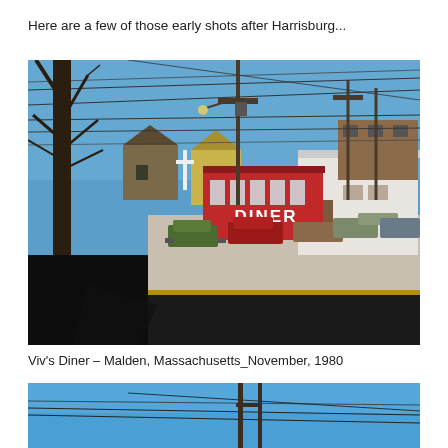Here are a few of those early shots after Harrisburg...
[Figure (photo): A red diner building with 'DINER' text visible, parked cars in a lot, utility poles with wires, bare trees, and residential buildings in the background. Blue sky visible. Street with yellow center line in foreground. Winter scene.]
Viv's Diner – Malden, Massachusetts_November, 1980
[Figure (photo): Partial view of sky (blue) with utility poles and power lines visible. Bottom portion of a second photograph.]